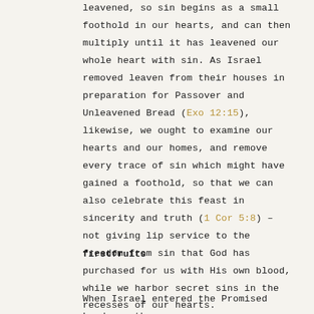leavened, so sin begins as a small foothold in our hearts, and can then multiply until it has leavened our whole heart with sin. As Israel removed leaven from their houses in preparation for Passover and Unleavened Bread (Exo 12:15), likewise, we ought to examine our hearts and our homes, and remove every trace of sin which might have gained a foothold, so that we can also celebrate this feast in sincerity and truth (1 Cor 5:8) – not giving lip service to the freedom from sin that God has purchased for us with His own blood, while we harbor secret sins in the recesses of our hearts.
firstfruits
When Israel entered the Promised Land, on the